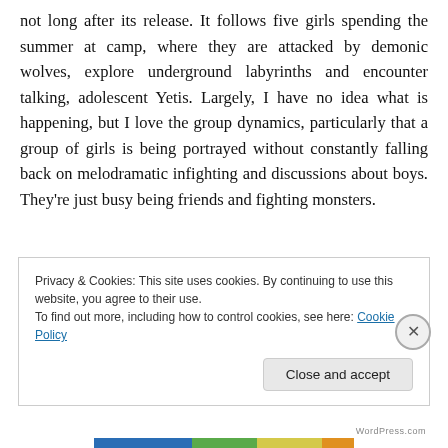not long after its release. It follows five girls spending the summer at camp, where they are attacked by demonic wolves, explore underground labyrinths and encounter talking, adolescent Yetis. Largely, I have no idea what is happening, but I love the group dynamics, particularly that a group of girls is being portrayed without constantly falling back on melodramatic infighting and discussions about boys. They're just busy being friends and fighting monsters.
Privacy & Cookies: This site uses cookies. By continuing to use this website, you agree to their use.
To find out more, including how to control cookies, see here: Cookie Policy